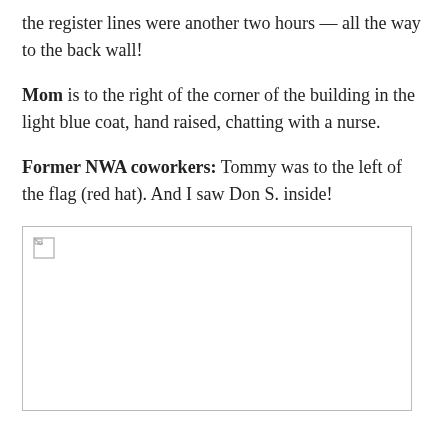the register lines were another two hours — all the way to the back wall!
Mom is to the right of the corner of the building in the light blue coat, hand raised, chatting with a nurse.
Former NWA coworkers: Tommy was to the left of the flag (red hat). And I saw Don S. inside!
[Figure (photo): Broken/missing image placeholder shown as a bordered rectangle with a broken image icon in the top-left corner.]